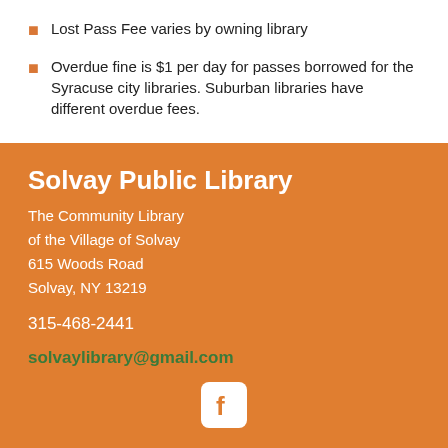Lost Pass Fee varies by owning library
Overdue fine is $1 per day for passes borrowed for the Syracuse city libraries. Suburban libraries have different overdue fees.
Solvay Public Library
The Community Library of the Village of Solvay
615 Woods Road
Solvay, NY 13219
315-468-2441
solvaylibrary@gmail.com
[Figure (logo): Facebook logo icon in white on white rounded square background]
Copyright © 2019 Solvay Public Library  |  Privacy Policy